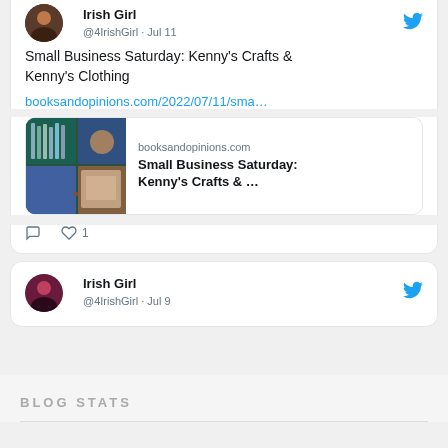[Figure (screenshot): Twitter/X profile avatar for Irish Girl, circular photo of person reading a book]
Irish Girl
@4IrishGirl · Jul 11
Small Business Saturday: Kenny's Crafts & Kenny's Clothing
booksandopinions.com/2022/07/11/sma…
[Figure (screenshot): Link preview card showing booksandopinions.com with photo of books/crafts. Title: Small Business Saturday: Kenny's Crafts & ...]
1 like
[Figure (screenshot): Twitter/X profile avatar for Irish Girl, circular photo of person reading]
Irish Girl
@4IrishGirl · Jul 9
BLOG STATS